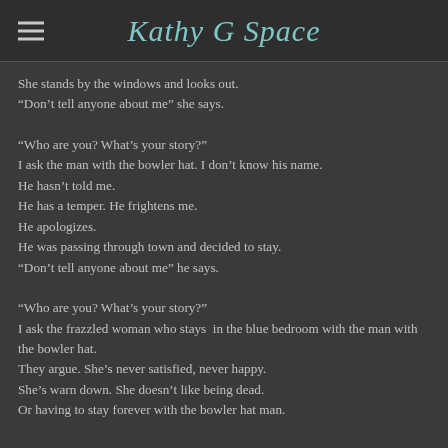Kathy G Space
She stands by the windows and looks out.
“Don’t tell anyone about me” she says.
“Who are you? What’s your story?”
I ask the man with the bowler hat. I don’t know his name.
He hasn’t told me.
He has a temper. He frightens me.
He apologizes.
He was passing through town and decided to stay.
“Don’t tell anyone about me” he says.
“Who are you? What’s your story?”
I ask the frazzled woman who stays in the blue bedroom with the man with the bowler hat.
They argue. She’s never satisfied, never happy.
She’s warn down. She doesn’t like being dead.
Or having to stay forever with the bowler hat man.